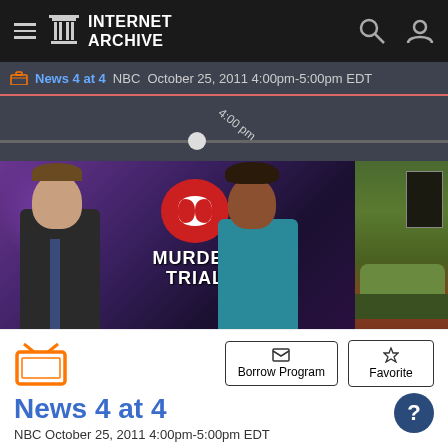Internet Archive
News 4 at 4  NBC  October 25, 2011 4:00pm-5:00pm EDT
[Figure (screenshot): Video scrubber timeline showing 4:00 pm marker]
[Figure (screenshot): TV news broadcast video showing two anchors with MURDER TRIAL graphic, lululemon logo visible]
[Figure (screenshot): Orange TV icon, Borrow Program button, Favorite button, help circle button]
News 4 at 4
NBC October 25, 2011 4:00pm-5:00pm EDT